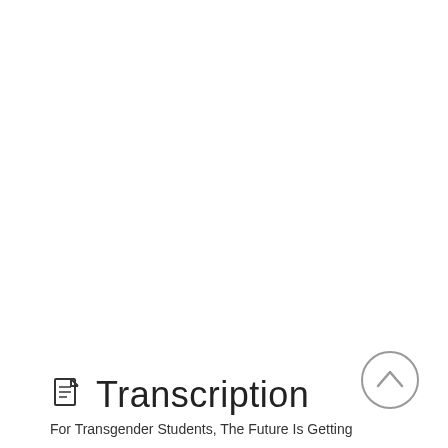Transcription
For Transgender Students, The Future Is Getting